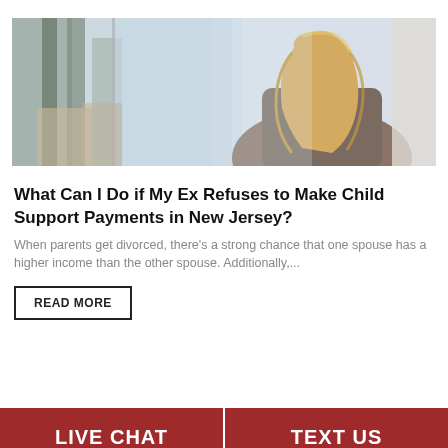[Figure (photo): A blonde woman sitting and looking to the side, photographed from behind/side angle in what appears to be a cafe or modern interior with large windows and blurred background]
What Can I Do if My Ex Refuses to Make Child Support Payments in New Jersey?
When parents get divorced, there's a strong chance that one spouse has a higher income than the other spouse. Additionally,...
READ MORE
LIVE CHAT
TEXT US